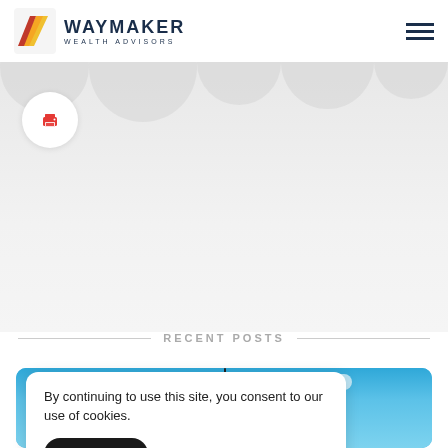[Figure (logo): Waymaker Wealth Advisors logo with diagonal striped chevron icon in orange, red, and dark colors, and text 'WAYMAKER WEALTH ADVISORS' in dark navy]
[Figure (infographic): Grey decorative banner area with circular shapes and a print icon in a white circle on the left]
RECENT POSTS
[Figure (photo): Blue sky with clouds photo partially visible at bottom of page]
By continuing to use this site, you consent to our use of cookies.
ACCEPT